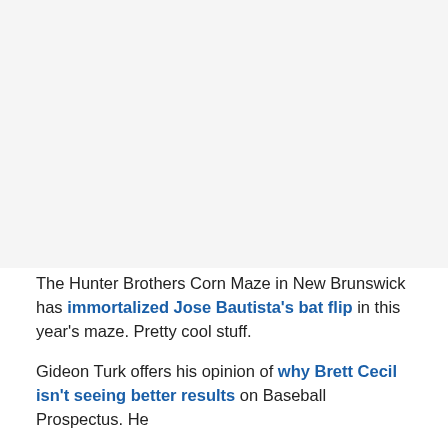[Figure (photo): Blank/white image placeholder area at the top of the page]
The Hunter Brothers Corn Maze in New Brunswick has immortalized Jose Bautista's bat flip in this year's maze. Pretty cool stuff.
Gideon Turk offers his opinion of why Brett Cecil isn't seeing better results on Baseball Prospectus. He